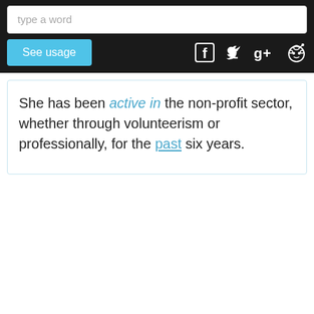type a word | See usage | [social icons: Facebook, Twitter, Google+, Reddit]
She has been active in the non-profit sector, whether through volunteerism or professionally, for the past six years.